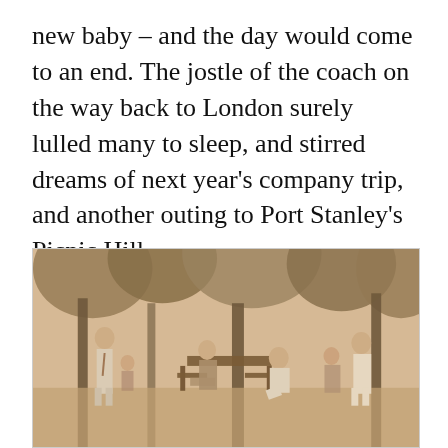new baby – and the day would come to an end. The jostle of the coach on the way back to London surely lulled many to sleep, and stirred dreams of next year's company trip, and another outing to Port Stanley's Picnic Hill.
[Figure (photo): Sepia-toned vintage photograph of people at a picnic outing at Port Stanley's Picnic Hill. Several men and women are gathered outdoors under large trees. Some are seated on benches around a picnic table while others are standing. A couple of people appear to be engaged in a game or activity in the foreground.]